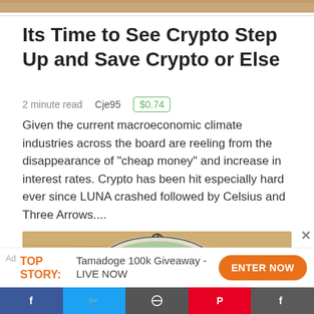[Figure (photo): Partial top image bar showing a cropped photo background]
Its Time to See Crypto Step Up and Save Crypto or Else
2 minute read   Cje95   $0.74
Given the current macroeconomic climate industries across the board are reeling from the disappearance of "cheap money" and increase in interest rates. Crypto has been hit especially hard ever since LUNA crashed followed by Celsius and Three Arrows....
[Figure (photo): Photo of bundled US dollar bills wrapped in plastic or wire on a wooden surface]
Ad  TOP STORY:  Tamadoge 100k Giveaway - LIVE NOW  ENTER NOW